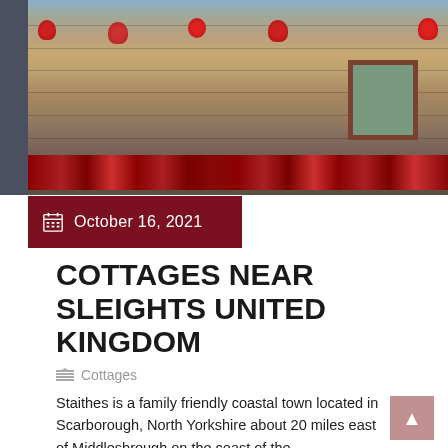[Figure (photo): Stone cottage wall with hanging flower baskets and potted red, pink, and purple flowers along the base. Date overlay bar showing October 16, 2021 on dark red background.]
COTTAGES NEAR SLEIGHTS UNITED KINGDOM
Cottages
Staithes is a family friendly coastal town located in Scarborough, North Yorkshire about 20 miles east of Middlesbrough on the coast of the...